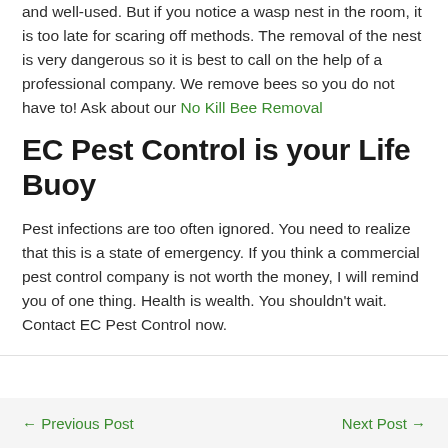and well-used. But if you notice a wasp nest in the room, it is too late for scaring off methods. The removal of the nest is very dangerous so it is best to call on the help of a professional company. We remove bees so you do not have to! Ask about our No Kill Bee Removal
EC Pest Control is your Life Buoy
Pest infections are too often ignored. You need to realize that this is a state of emergency. If you think a commercial pest control company is not worth the money, I will remind you of one thing. Health is wealth. You shouldn't wait. Contact EC Pest Control now.
← Previous Post   Next Post →